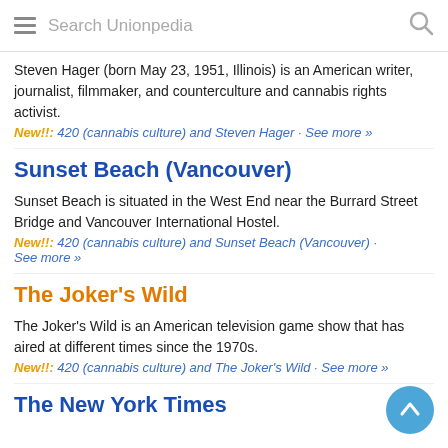Search Unionpedia
Steven Hager (born May 23, 1951, Illinois) is an American writer, journalist, filmmaker, and counterculture and cannabis rights activist.
New!!: 420 (cannabis culture) and Steven Hager · See more »
Sunset Beach (Vancouver)
Sunset Beach is situated in the West End near the Burrard Street Bridge and Vancouver International Hostel.
New!!: 420 (cannabis culture) and Sunset Beach (Vancouver) · See more »
The Joker's Wild
The Joker's Wild is an American television game show that has aired at different times since the 1970s.
New!!: 420 (cannabis culture) and The Joker's Wild · See more »
The New York Times